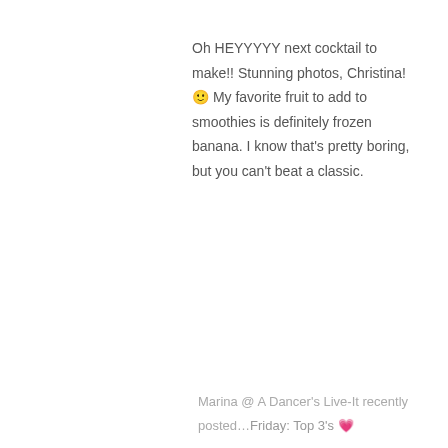Oh HEYYYYY next cocktail to make!! Stunning photos, Christina! 🙂 My favorite fruit to add to smoothies is definitely frozen banana. I know that's pretty boring, but you can't beat a classic.
Marina @ A Dancer's Live-It recently posted…Friday: Top 3's ❤
[Figure (other): Five gold star rating emoji symbols]
Reply
[Figure (photo): Partial photo of a person at bottom of page, with text THE BLISSFUL partially visible]